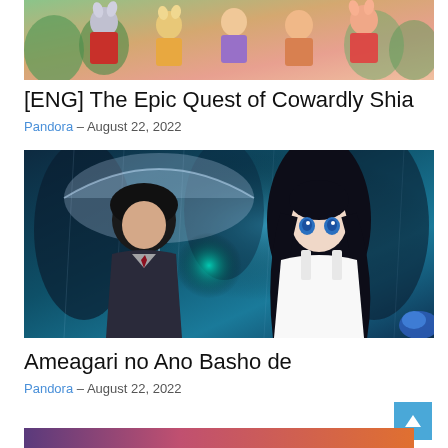[Figure (illustration): Anime illustration showing multiple colorful characters with animal ears against a green/orange background]
[ENG] The Epic Quest of Cowardly Shia
Pandora – August 22, 2022
[Figure (illustration): Anime illustration of a boy holding an umbrella and a girl with long dark hair in the rain, with teal glowing light between them]
Ameagari no Ano Basho de
Pandora – August 22, 2022